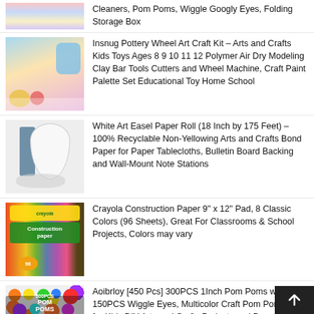Cleaners, Pom Poms, Wiggle Googly Eyes, Folding Storage Box
[Figure (photo): Craft supplies product image - partial view at top]
Insnug Pottery Wheel Art Craft Kit – Arts and Crafts Kids Toys Ages 8 9 10 11 12 Polymer Air Dry Modeling Clay Bar Tools Cutters and Wheel Machine, Craft Paint Palette Set Educational Toy Home School
[Figure (photo): Pottery wheel art craft kit product image]
White Art Easel Paper Roll (18 Inch by 175 Feet) – 100% Recyclable Non-Yellowing Arts and Crafts Bond Paper for Paper Tablecloths, Bulletin Board Backing and Wall-Mount Note Stations
[Figure (photo): White art easel paper roll product image]
Crayola Construction Paper 9" x 12" Pad, 8 Classic Colors (96 Sheets), Great For Classrooms & School Projects, Colors may vary
[Figure (photo): Crayola Construction Paper product image]
Aoibrloy [450 Pcs] 300PCS 1Inch Pom Poms with 150PCS Wiggle Eyes, Multicolor Craft Pom Pom Balls for Kids DIY Arts and Crafts Projects and Decorations
[Figure (photo): Colorful pom poms product image]